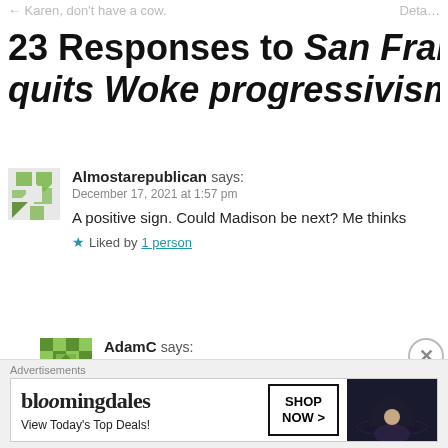Karen, don't have a cow.
23 Responses to San Francisco quits Woke progressivism c…
Almostarepublican says:
December 17, 2021 at 1:57 pm

A positive sign. Could Madison be next? Me thinks…

★ Liked by 1 person
AdamC says:
December 17, 2021 at 11:26 pm
Advertisements
bloomingdales — View Today's Top Deals! — SHOP NOW >